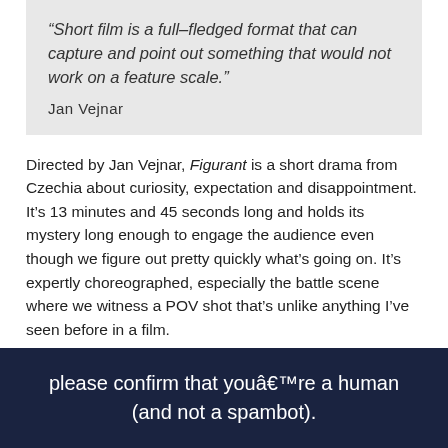“Short film is a full–fledged format that can capture and point out something that would not work on a feature scale.”
Jan Vejnar
Directed by Jan Vejnar, Figurant is a short drama from Czechia about curiosity, expectation and disappointment. It’s 13 minutes and 45 seconds long and holds its mystery long enough to engage the audience even though we figure out pretty quickly what’s going on. It’s expertly choreographed, especially the battle scene where we witness a POV shot that’s unlike anything I’ve seen before in a film.
please confirm that youâ€™re a human (and not a spambot).